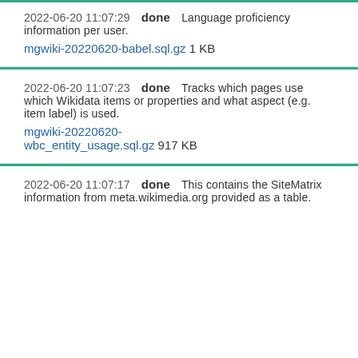2022-06-20 11:07:29  done  Language proficiency information per user.
mgwiki-20220620-babel.sql.gz 1 KB
2022-06-20 11:07:23  done  Tracks which pages use which Wikidata items or properties and what aspect (e.g. item label) is used.
mgwiki-20220620-wbc_entity_usage.sql.gz 917 KB
2022-06-20 11:07:17  done  This contains the SiteMatrix information from meta.wikimedia.org provided as a table.